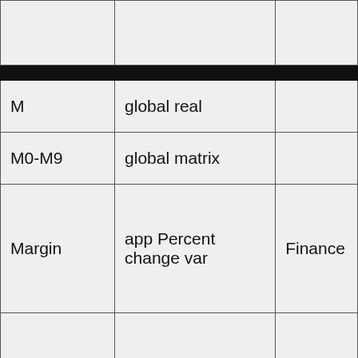|  |  |  |
| --- | --- | --- |
| M | global real |  |
| M0-M9 | global matrix |  |
| Margin | app Percent change var | Finance |
| Markup | app Percent change var | Finance |
|  |  |  |